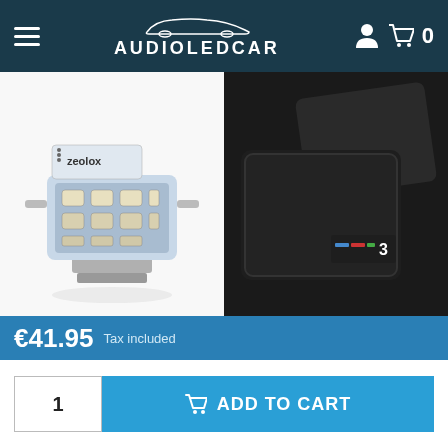AUDIOLEDCAR
[Figure (photo): LED bulb product photo on white background]
[Figure (photo): Black car floor mat with BMW 3 series logo on dark background]
We inform you that this website uses its own and third-party cookies for analytical and advertising purposes. You can find out more about which cookies we are using by clicking on Cookie Settings or by visiting our cookie policy.
€41.95  Tax included
1  ADD TO CART